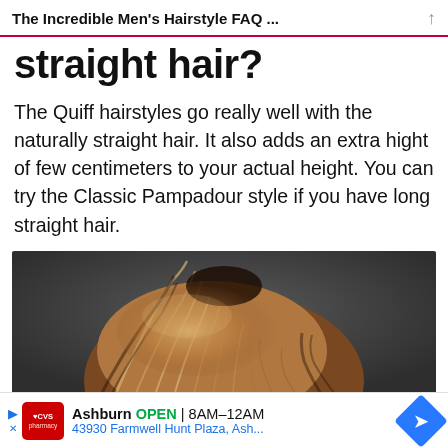The Incredible Men's Hairstyle FAQ ...
straight hair?
The Quiff hairstyles go really well with the naturally straight hair. It also adds an extra hight of few centimeters to your actual height. You can try the Classic Pampadour style if you have long straight hair.
[Figure (photo): Close-up back view of a man's head with medium-length, slightly wavy brown/blonde highlighted hair against a dark grey background.]
Ashburn OPEN 8AM–12AM 43930 Farmwell Hunt Plaza, Ash...